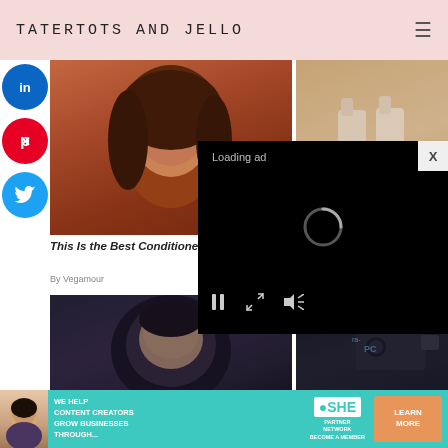TATERTOTS AND JELLO
[Figure (photo): Woman with curly hair, warm lighting, beauty/hair product article image]
[Figure (photo): Shampoo and conditioner bottles on pink stone with warm background]
This Is the Best Conditioner for Fine…
By Vegamour
This Vegan Shampoo and
[Figure (photo): Person looking down, dark background]
[Figure (photo): Dark electronic device/USB drive, dark background]
[Figure (screenshot): Loading ad overlay with spinner and playback controls on black background]
[Figure (photo): SHE Partner Network banner advertisement - teal background with woman, text about content creators, and learn more button]